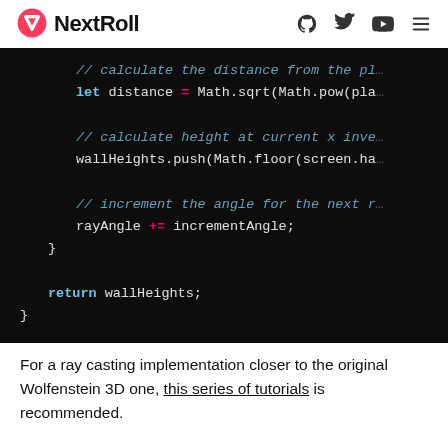NextRoll
[Figure (screenshot): Code snippet on dark background showing JavaScript ray casting code: comment '// calculate the distance from the pl...', 'let distance = Math.sqrt(Math.pow(pla...', comment '// calculate height at current x inve...', 'wallHeights.push(Math.floor(screen.ha...', comment '// increment the angle for the next r...', 'rayAngle += incrementAngle;', closing brace, 'return wallHeights;', closing brace.]
For a ray casting implementation closer to the original Wolfenstein 3D one, this series of tutorials is recommended.
This routine was clearly the most challenging we tackled during this Hack Week, but we made a couple of decisions